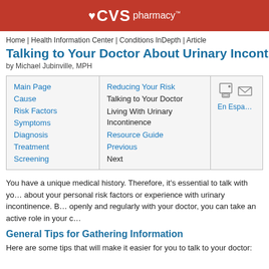CVS pharmacy
Home | Health Information Center | Conditions InDepth | Article
Talking to Your Doctor About Urinary Incontinenc…
by Michael Jubinville, MPH
| Main Page | Reducing Your Risk |  |
| Cause | Talking to Your Doctor | En Espanol |
| Risk Factors | Living With Urinary Incontinence |  |
| Symptoms | Resource Guide |  |
| Diagnosis | Previous |  |
| Treatment | Next |  |
| Screening |  |  |
You have a unique medical history. Therefore, it's essential to talk with yo… about your personal risk factors or experience with urinary incontinence. B… openly and regularly with your doctor, you can take an active role in your c…
General Tips for Gathering Information
Here are some tips that will make it easier for you to talk to your doctor: